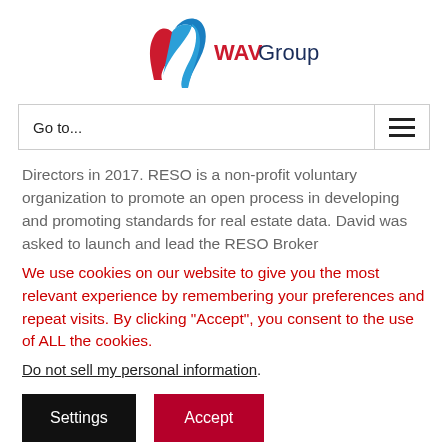[Figure (logo): WAV Group logo with stylized W ribbon in blue and red, text 'WAV Group' in dark navy/red]
Go to...
Directors in 2017. RESO is a non-profit voluntary organization to promote an open process in developing and promoting standards for real estate data. David was asked to launch and lead the RESO Broker
We use cookies on our website to give you the most relevant experience by remembering your preferences and repeat visits. By clicking “Accept”, you consent to the use of ALL the cookies.
Do not sell my personal information.
Settings
Accept